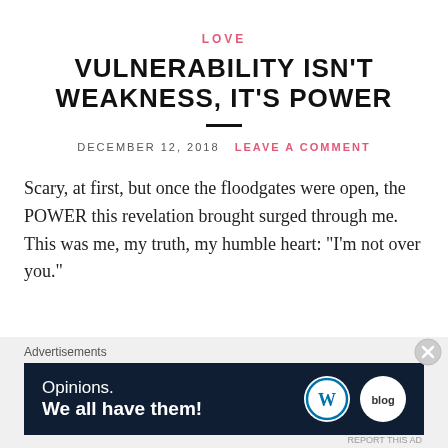LOVE
VULNERABILITY ISN'T WEAKNESS, IT'S POWER
DECEMBER 12, 2018   LEAVE A COMMENT
Scary, at first, but once the floodgates were open, the POWER this revelation brought surged through me. This was me, my truth, my humble heart: "I'm not over you."
[Figure (other): Advertisement banner: 'Opinions. We all have them!' with WordPress and Blog.com logos on dark navy background]